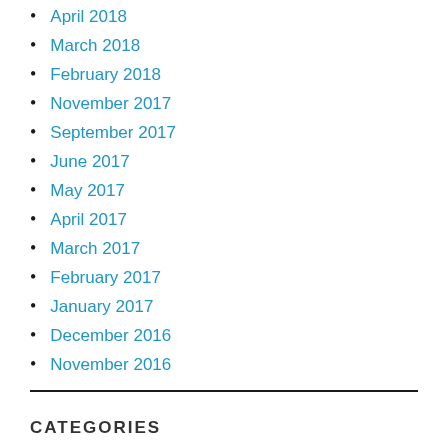April 2018
March 2018
February 2018
November 2017
September 2017
June 2017
May 2017
April 2017
March 2017
February 2017
January 2017
December 2016
November 2016
CATEGORIES